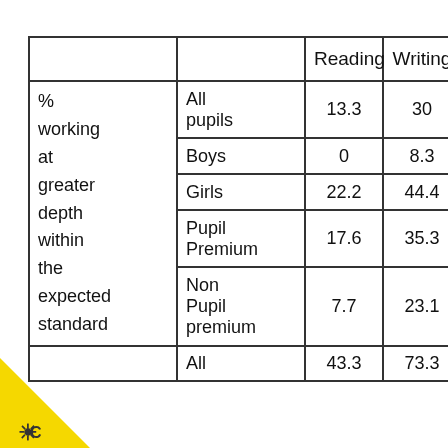|  |  | Reading | Writing | Math |
| --- | --- | --- | --- | --- |
| % working at greater depth within the expected standard | All pupils | 13.3 | 30 | 13.3 |
| % working at greater depth within the expected standard | Boys | 0 | 8.3 | 8.3 |
| % working at greater depth within the expected standard | Girls | 22.2 | 44.4 | 16.7 |
| % working at greater depth within the expected standard | Pupil Premium | 17.6 | 35.3 | 11.8 |
| % working at greater depth within the expected standard | Non Pupil premium | 7.7 | 23.1 | 15.4 |
| % working at greater depth within the expected standard | All | 43.3 | 73.3 | 53.3 |